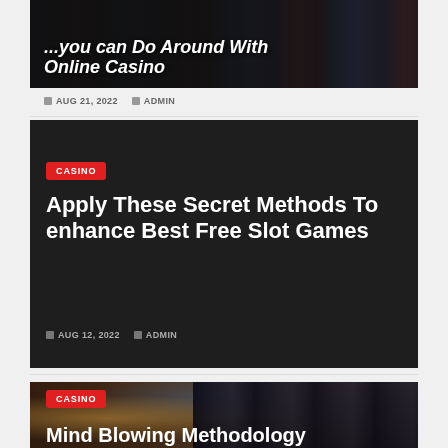[Figure (photo): Partial top card showing online casino slot machines with a hand holding a phone, dark overlay with italic bold white title partially visible]
How you can Do Around With Online Casino
AUG 21, 2022   ADMIN
[Figure (other): Dark background card with red CASINO badge, white bold title text, and date/author metadata]
Apply These Secret Methods To enhance Best Free Slot Games
AUG 12, 2022   ADMIN
[Figure (photo): Casino card showing a woman smiling at slot machines, warm lighting, with red CASINO badge and partial title at bottom]
Mind Blowing Methodology